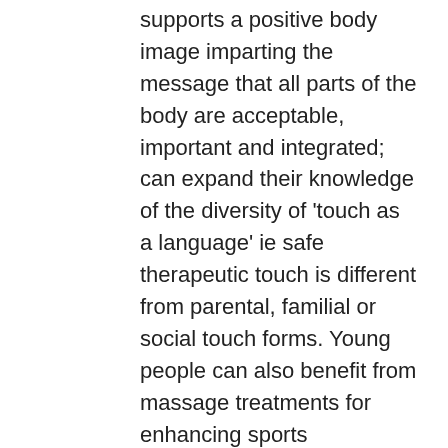supports a positive body image imparting the message that all parts of the body are acceptable, important and integrated; can expand their knowledge of the diversity of 'touch as a language' ie safe  therapeutic touch is different from parental, familial or social touch forms. Young people can also benefit from massage treatments for enhancing sports performance, recovery or injury healing. Learning to relax is an important skill which cannot begin too young.
Pregnancy
If you're expecting, or planning to be, you might want a massage to help prepare and maintain a comfortable body and relaxed